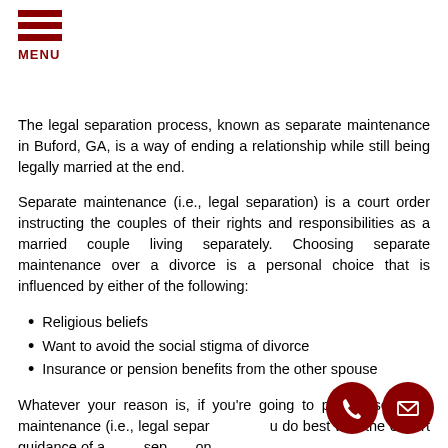MENU
The legal separation process, known as separate maintenance in Buford, GA, is a way of ending a relationship while still being legally married at the end.
Separate maintenance (i.e., legal separation) is a court order instructing the couples of their rights and responsibilities as a married couple living separately. Choosing separate maintenance over a divorce is a personal choice that is influenced by either of the following:
Religious beliefs
Want to avoid the social stigma of divorce
Insurance or pension benefits from the other spouse
Whatever your reason is, if you're going to pursue separate maintenance (i.e., legal separation), you do best with the expert guidance of a legal separation